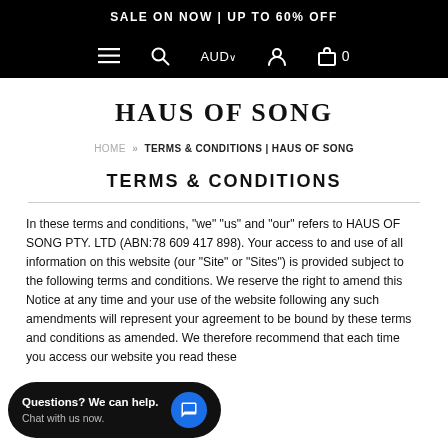SALE ON NOW | UP TO 60% OFF
[Figure (screenshot): Navigation bar with hamburger menu, search icon, AUD currency selector, account icon, and bag icon with 0 items]
HAUS OF SONG
HOME » TERMS & CONDITIONS | HAUS OF SONG
TERMS & CONDITIONS
In these terms and conditions, "we" "us" and "our" refers to HAUS OF SONG PTY. LTD (ABN:78 609 417 898). Your access to and use of all information on this website (our "Site" or "Sites") is provided subject to the following terms and conditions. We reserve the right to amend this Notice at any time and your use of the website following any such amendments will represent your agreement to be bound by these terms and conditions as amended. We therefore recommend that each time you access our website you read these